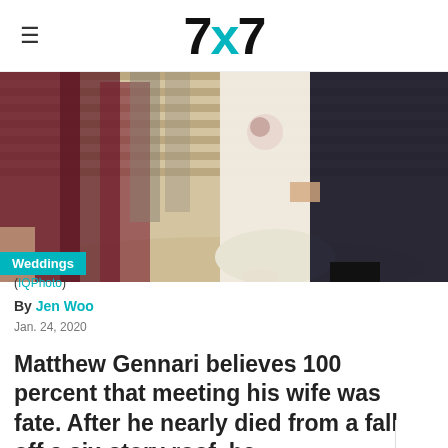7x7
[Figure (photo): Wedding photo showing a bride in a white gown holding a bouquet and a groom in a black suit walking down marble steps, with bridesmaids in dark red dresses visible in the background.]
Weddings
(IQPhoto)
By Jen Woo
Jan. 24, 2020
Matthew Gennari believes 100 percent that meeting his wife was fate. After he nearly died from a fall off a six-story roof, he